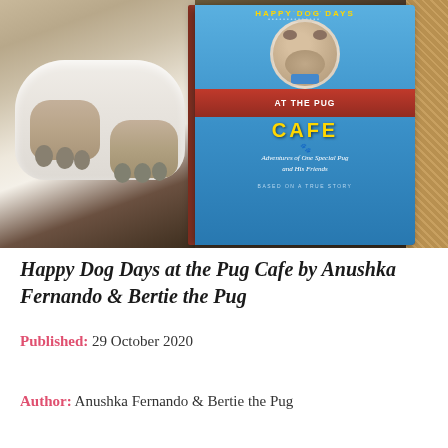[Figure (photo): A pug dog lying on a white cushion/bed on a dark brown surface, with a copy of the book 'Happy Dog Days at the Pug Cafe' by Anushka Fernando and Bertie the Pug propped up next to it. The book has a blue cover showing a pug wearing a bow tie and text 'At the Pug Cafe' and 'Adventures of One Special Pug and His Friends'. A wicker/rattan texture is visible on the right.]
Happy Dog Days at the Pug Cafe by Anushka Fernando & Bertie the Pug
Published: 29 October 2020
Author: Anushka Fernando & Bertie the Pug